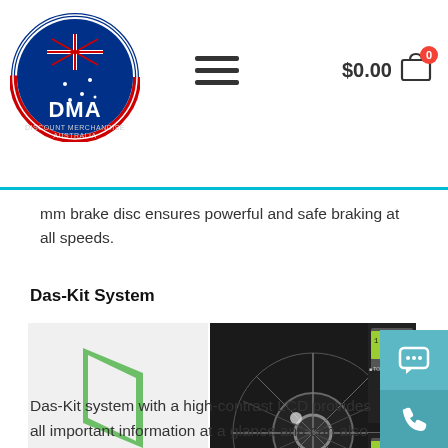$0.00 cart, hamburger menu, DMA logo
mm brake disc ensures powerful and safe braking at all speeds.
Das-Kit System
[Figure (photo): Das-Kit Drive System logo on left with green geometric logo mark; center image of bicycle hub/motor close-up; right side shows LCD display panels labeled TOTAL MILEAGE and CYCLING DURATION and CURRENT BATTERY LEVEL]
Das-Kit system with a high-contrast LCD provides all important information at a glance and can also